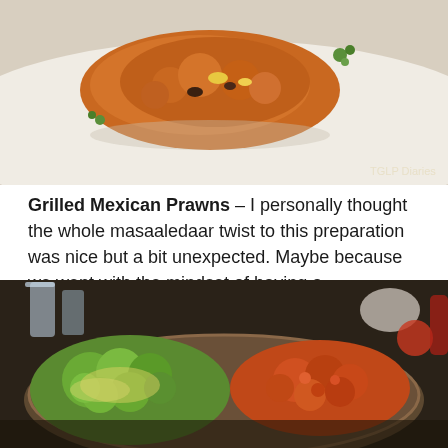[Figure (photo): Close-up photo of Grilled Mexican Prawns on a white plate, garnished with parsley. Watermark reads 'TGLP Diaries' in bottom right.]
Grilled Mexican Prawns – I personally thought the whole masaaledaar twist to this preparation was nice but a bit unexpected. Maybe because we went with the mindset of having a comparatively healthy meal... the kind that isn't too spicy by nature. Nevertheless, delete that thought and I have an appetiser that is perfect to please the classic desi palate.
[Figure (photo): Photo of a platter with green broccoli and orange-red spiced cauliflower or paneer on a wooden/metal tray, with drinks visible in the background.]